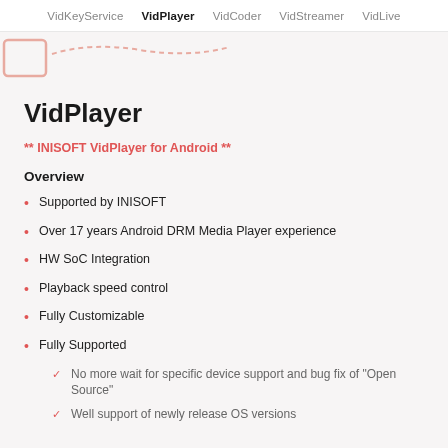VidKeyService  VidPlayer  VidCoder  VidStreamer  VidLive
[Figure (illustration): Partial diagram/chart visible at top of page, showing a pink/red curved line and partial rectangular shape on light background]
VidPlayer
** INISOFT VidPlayer for Android **
Overview
Supported by INISOFT
Over 17 years Android DRM Media Player experience
HW SoC Integration
Playback speed control
Fully Customizable
Fully Supported
No more wait for specific device support and bug fix of "Open Source"
Well support of newly release OS versions